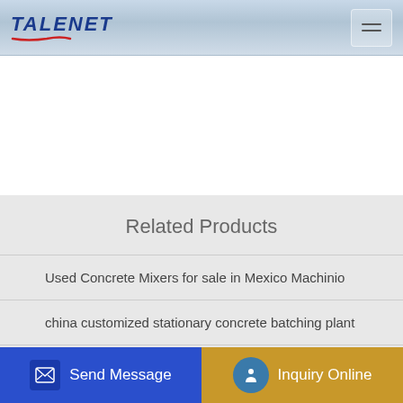TALENET
Related Products
Used Concrete Mixers for sale in Mexico Machinio
china customized stationary concrete batching plant
dongfeng double axle concrete mixer truck for sales
Concrete mixer truck RENAULT BARYVAL 34236 USD